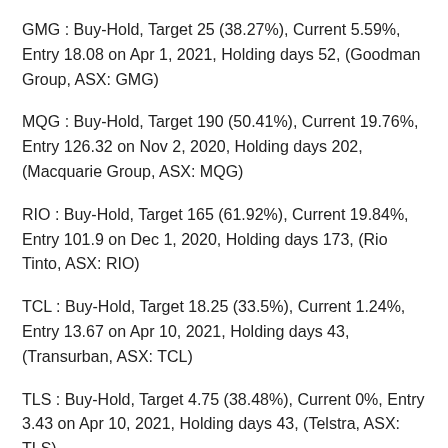GMG : Buy-Hold, Target 25 (38.27%), Current 5.59%, Entry 18.08 on Apr 1, 2021, Holding days 52, (Goodman Group, ASX: GMG)
MQG : Buy-Hold, Target 190 (50.41%), Current 19.76%, Entry 126.32 on Nov 2, 2020, Holding days 202, (Macquarie Group, ASX: MQG)
RIO : Buy-Hold, Target 165 (61.92%), Current 19.84%, Entry 101.9 on Dec 1, 2020, Holding days 173, (Rio Tinto, ASX: RIO)
TCL : Buy-Hold, Target 18.25 (33.5%), Current 1.24%, Entry 13.67 on Apr 10, 2021, Holding days 43, (Transurban, ASX: TCL)
TLS : Buy-Hold, Target 4.75 (38.48%), Current 0%, Entry 3.43 on Apr 10, 2021, Holding days 43, (Telstra, ASX: TLS)